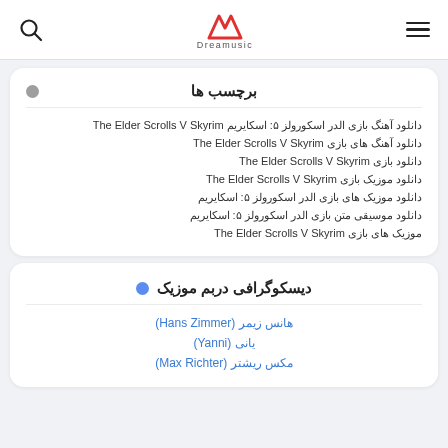Dreamusic - search and menu header
برچسب ها
دانلود آهنگ بازی الدر اسکورولز ۵: اسکایریم The Elder Scrolls V Skyrim
دانلود آهنگ های بازی The Elder Scrolls V Skyrim
دانلود بازی The Elder Scrolls V Skyrim
دانلود موزیک بازی The Elder Scrolls V Skyrim
دانلود موزیک های بازی الدر اسکورولز ۵: اسکایریم
دانلود موسیقی متن بازی الدر اسکورولز ۵: اسکایریم
موزیک های بازی The Elder Scrolls V Skyrim
دیسکوگرافی دربم موزیک
هانس زیمر (Hans Zimmer)
یانی (Yanni)
مکس ریشتر (Max Richter)